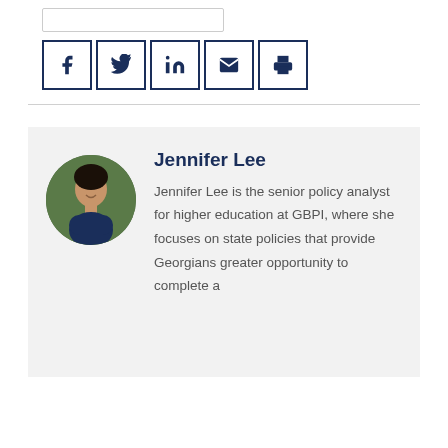[Figure (other): Social share buttons: Facebook, Twitter, LinkedIn, Email, Print — each in a square border with navy icon]
[Figure (photo): Circular profile photo of Jennifer Lee, a woman smiling outdoors with green foliage in background, wearing a navy top]
Jennifer Lee
Jennifer Lee is the senior policy analyst for higher education at GBPI, where she focuses on state policies that provide Georgians greater opportunity to complete a